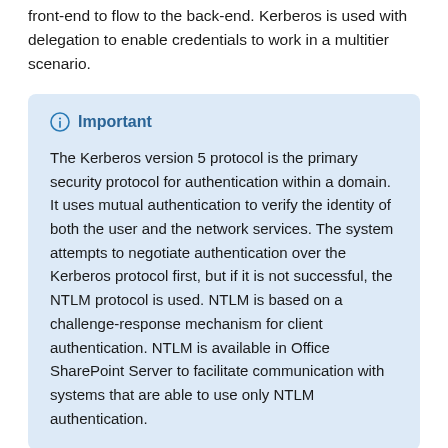front-end to flow to the back-end. Kerberos is used with delegation to enable credentials to work in a multitier scenario.
Important

The Kerberos version 5 protocol is the primary security protocol for authentication within a domain. It uses mutual authentication to verify the identity of both the user and the network services. The system attempts to negotiate authentication over the Kerberos protocol first, but if it is not successful, the NTLM protocol is used. NTLM is based on a challenge-response mechanism for client authentication. NTLM is available in Office SharePoint Server to facilitate communication with systems that are able to use only NTLM authentication.